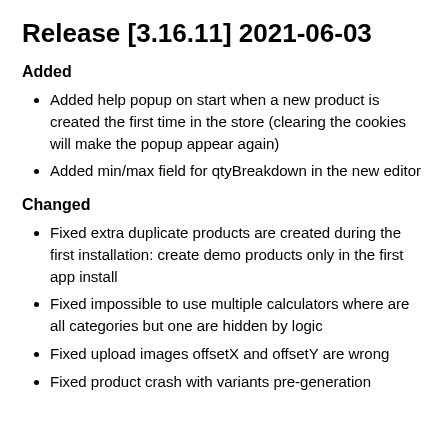Release [3.16.11] 2021-06-03
Added
Added help popup on start when a new product is created the first time in the store (clearing the cookies will make the popup appear again)
Added min/max field for qtyBreakdown in the new editor
Changed
Fixed extra duplicate products are created during the first installation: create demo products only in the first app install
Fixed impossible to use multiple calculators where are all categories but one are hidden by logic
Fixed upload images offsetX and offsetY are wrong
Fixed product crash with variants pre-generation